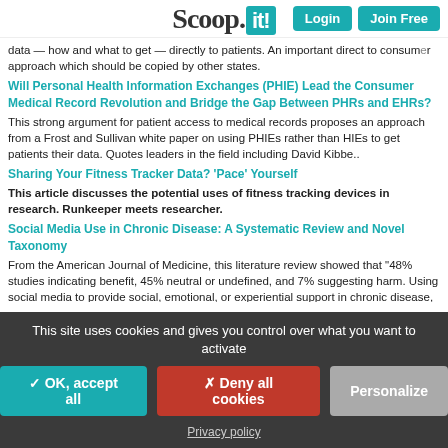Scoop.it! — Login | Join Free
data — how and what to get — directly to patients. An important direct to consumer approach which should be copied by other states.
Will Personal Health Information Exchanges (PHIE) Lead the Consumer Medical Record Revolution and Bridge the Gap Between PHRs and EHRs?
This strong argument for patient access to medical records proposes an approach from a Frost and Sullivan white paper on using PHIEs rather than HIEs to get patients their data. Quotes leaders in the field including David Kibbe..
Sharing Your Fitness Tracker Data? 'Pace' Yourself
This article discusses the potential uses of fitness tracking devices in research. Runkeeper meets researcher.
Social Media Use in Chronic Disease: A Systematic Review and Novel Taxonomy
From the American Journal of Medicine, this literature review showed that "48% studies indicating benefit, 45% neutral or undefined, and 7% suggesting harm. Using social media to provide social, emotional, or experiential support in chronic disease, especially with Facebook and blogs, appears most likely to improve patient care."
5 Things You Should Know About Your Electronic Medical Records
From the Cleveland Clinic blog, a good basic primer for patients on their portal
This site uses cookies and gives you control over what you want to activate
✓ OK, accept all   ✗ Deny all cookies   Personalize
Privacy policy